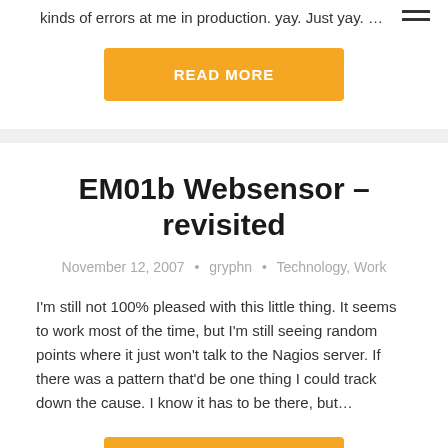kinds of errors at me in production.  yay.  Just yay. …
[Figure (other): Orange 'READ MORE' button]
EM01b Websensor – revisited
November 12, 2007  •  gryphn  •  Technology, Work
I'm still not 100% pleased with this little thing. It seems to work most of the time, but I'm still seeing random points where it just won't talk to the Nagios server. If there was a pattern that'd be one thing I could track down the cause. I know it has to be there, but…
[Figure (other): Orange 'READ MORE' button (partial, cut off at bottom)]